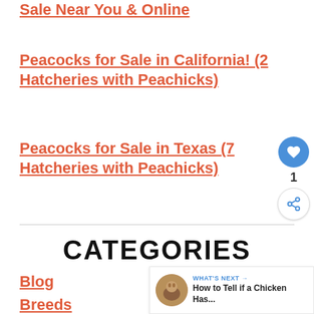Sale Near You & Online
Peacocks for Sale in California! (2 Hatcheries with Peachicks)
Peacocks for Sale in Texas (7 Hatcheries with Peachicks)
CATEGORIES
Blog
Breeds